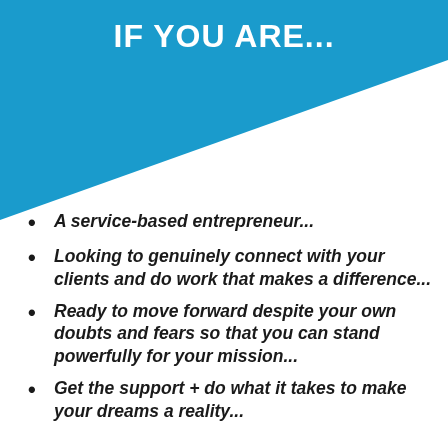IF YOU ARE...
A service-based entrepreneur...
Looking to genuinely connect with your clients and do work that makes a difference...
Ready to move forward despite your own doubts and fears so that you can stand powerfully for your mission...
Get the support + do what it takes to make your dreams a reality...